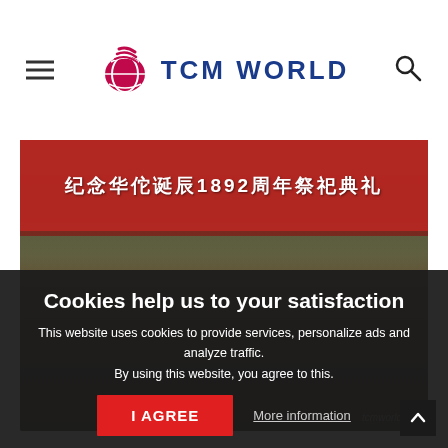TCM WORLD
[Figure (photo): Group photo of several people standing in front of a traditional Chinese pavilion with a red banner reading 纪念华佗诞辰1892周年祭祀典礼 (Commemorating the 1892nd anniversary of Hua Tuo's birth)]
Cookies help us to your satisfaction
This website uses cookies to provide services, personalize ads and analyze traffic.
By using this website, you agree to this.
I AGREE
More information